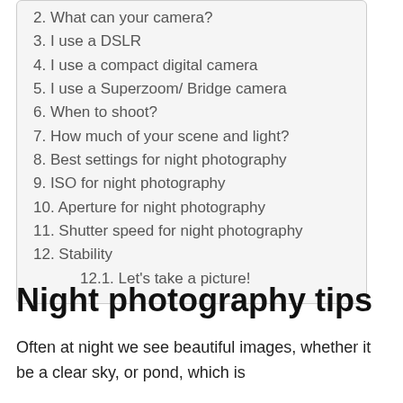2. What can your camera?
3. I use a DSLR
4. I use a compact digital camera
5. I use a Superzoom/ Bridge camera
6. When to shoot?
7. How much of your scene and light?
8. Best settings for night photography
9. ISO for night photography
10. Aperture for night photography
11. Shutter speed for night photography
12. Stability
12.1. Let's take a picture!
Night photography tips
Often at night we see beautiful images, whether it be a clear sky, or pond, which is